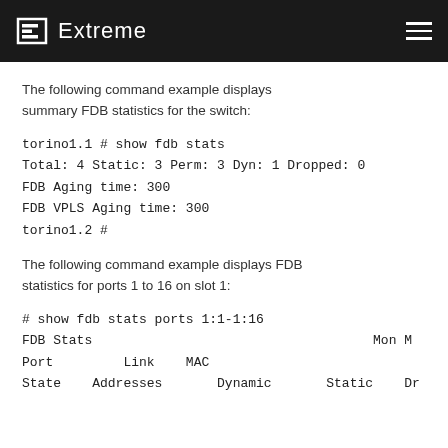Extreme
The following command example displays summary FDB statistics for the switch:
The following command example displays FDB statistics for ports 1 to 16 on slot 1: